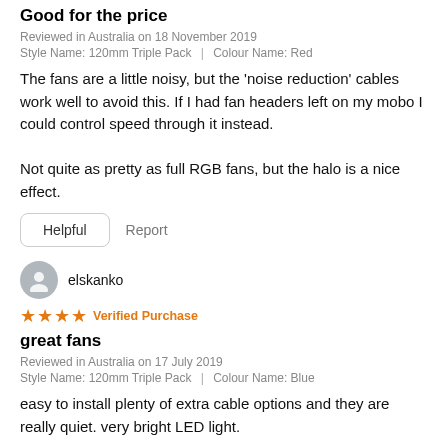Good for the price
Reviewed in Australia on 18 November 2019
Style Name: 120mm Triple Pack | Colour Name: Red
The fans are a little noisy, but the 'noise reduction' cables work well to avoid this. If I had fan headers left on my mobo I could control speed through it instead.

Not quite as pretty as full RGB fans, but the halo is a nice effect.
Helpful   Report
elskanko
★★★★ Verified Purchase
great fans
Reviewed in Australia on 17 July 2019
Style Name: 120mm Triple Pack | Colour Name: Blue
easy to install plenty of extra cable options and they are really quiet. very bright LED light.
Helpful